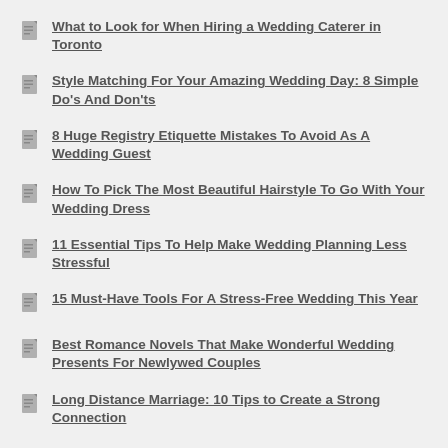What to Look for When Hiring a Wedding Caterer in Toronto
Style Matching For Your Amazing Wedding Day: 8 Simple Do's And Don'ts
8 Huge Registry Etiquette Mistakes To Avoid As A Wedding Guest
How To Pick The Most Beautiful Hairstyle To Go With Your Wedding Dress
11 Essential Tips To Help Make Wedding Planning Less Stressful
15 Must-Have Tools For A Stress-Free Wedding This Year
Best Romance Novels That Make Wonderful Wedding Presents For Newlywed Couples
Long Distance Marriage: 10 Tips to Create a Strong Connection
Which Flowers Will Make Your Wedding Bouquet Stand Out? + Extra Tips